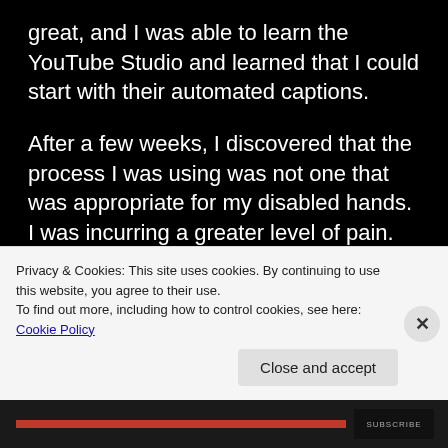great, and I was able to learn the YouTube Studio and learned that I could start with their automated captions.
After a few weeks, I discovered that the process I was using was not one that was appropriate for my disabled hands. I was incurring a greater level of pain. So much so that I had stopped working on my book.
At the same time, I experienced an
Privacy & Cookies: This site uses cookies. By continuing to use this website, you agree to their use.
To find out more, including how to control cookies, see here: Cookie Policy
Close and accept